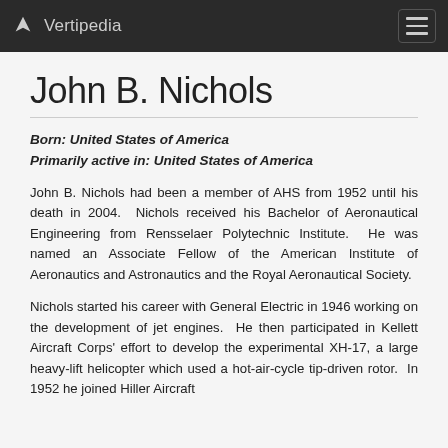Vertipedia
John B. Nichols
Born: United States of America
Primarily active in: United States of America
John B. Nichols had been a member of AHS from 1952 until his death in 2004. Nichols received his Bachelor of Aeronautical Engineering from Rensselaer Polytechnic Institute. He was named an Associate Fellow of the American Institute of Aeronautics and Astronautics and the Royal Aeronautical Society.
Nichols started his career with General Electric in 1946 working on the development of jet engines. He then participated in Kellett Aircraft Corps' effort to develop the experimental XH-17, a large heavy-lift helicopter which used a hot-air-cycle tip-driven rotor. In 1952 he joined Hiller Aircraft